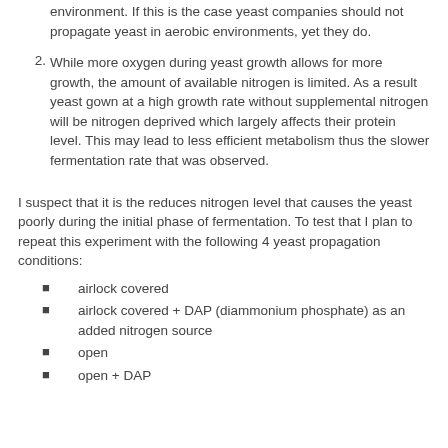environment. If this is the case yeast companies should not propagate yeast in aerobic environments, yet they do.
While more oxygen during yeast growth allows for more growth, the amount of available nitrogen is limited. As a result yeast gown at a high growth rate without supplemental nitrogen will be nitrogen deprived which largely affects their protein level. This may lead to less efficient metabolism thus the slower fermentation rate that was observed.
I suspect that it is the reduces nitrogen level that causes the yeast poorly during the initial phase of fermentation. To test that I plan to repeat this experiment with the following 4 yeast propagation conditions:
airlock covered
airlock covered + DAP (diammonium phosphate) as an added nitrogen source
open
open + DAP